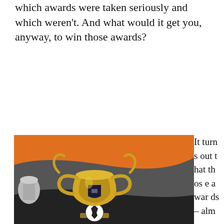which awards were taken seriously and which weren't. And what would it get you, anyway, to win those awards?
[Figure (photo): A gold trophy cup with soccer ball base, decorative handles, set against an orange and dark gray background. Another silver trophy partially visible on the left.]
It turns out that those awards–alm